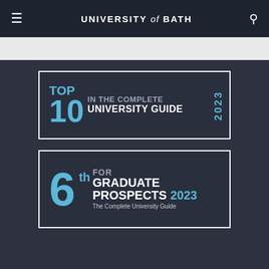UNIVERSITY of BATH
[Figure (logo): Top 10 in the Complete University Guide 2023 badge]
[Figure (logo): 6th for Graduate Prospects 2023 - The Complete University Guide badge]